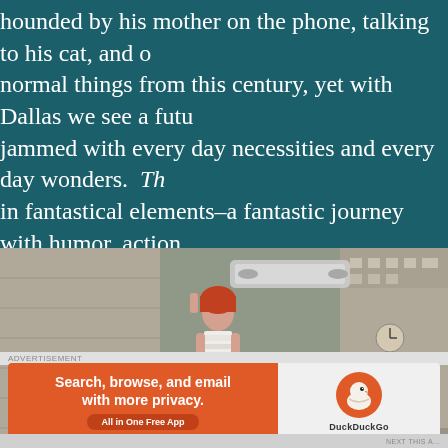hounded by his mother on the phone, talking to his cat, and o normal things from this century, yet with Dallas we see a futu jammed with every day necessities and every day wonders. Th in fantastical elements–a fantastic journey with humor, action connecting ancient history and the future of not only humans from other worlds, too.
[Figure (photo): Movie still from The Fifth Element showing Leeloo (Milla Jovovich) in white bandage outfit standing on a ledge of a futuristic city building with flying vehicles and tall buildings in background]
ADVERTISEMENT
[Figure (other): DuckDuckGo advertisement banner: orange left panel reading 'Search, browse, and email with more privacy. All in One Free App' with DuckDuckGo logo on right side]